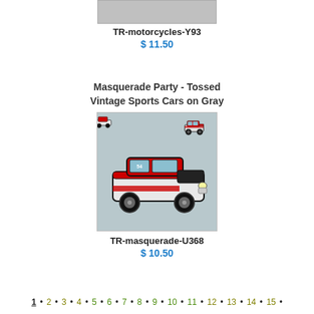TR-motorcycles-Y93
$ 11.50
Masquerade Party - Tossed Vintage Sports Cars on Gray
[Figure (photo): Fabric swatch showing vintage red and white sports cars on a gray background]
TR-masquerade-U368
$ 10.50
1 • 2 • 3 • 4 • 5 • 6 • 7 • 8 • 9 • 10 • 11 • 12 • 13 • 14 • 15 •